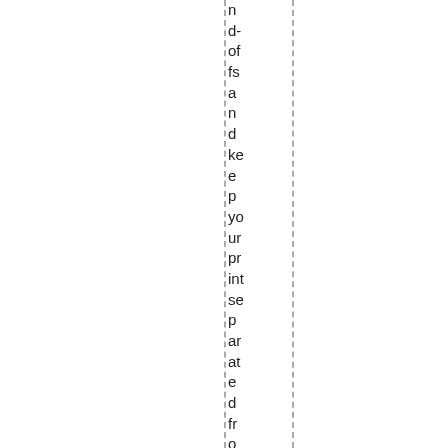nd-offs and keep your print separated from the wall by 1"